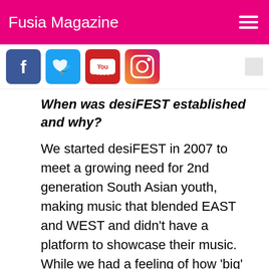Fusia Magazine
When was desiFEST established and why?
We started desiFEST in 2007 to meet a growing need for 2nd generation South Asian youth, making music that blended EAST and WEST and didn't have a platform to showcase their music. While we had a feeling of how 'big' this concert can get, we had no idea that over 40k+ fans will come